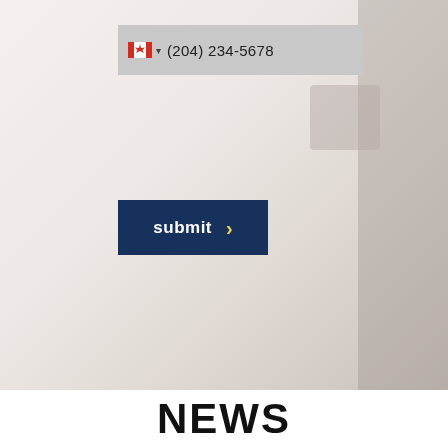[Figure (screenshot): A webpage screenshot showing a phone number input field with Canadian flag and (204) 234-5678, a navy blue submit button with yellow arrow, and a NEWS section header at the bottom, over a light blurred background.]
(204) 234-5678
submit ›
NEWS